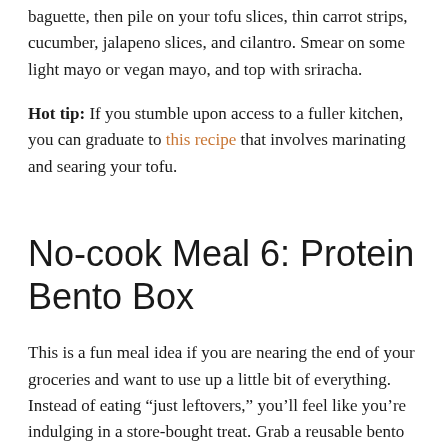baguette, then pile on your tofu slices, thin carrot strips, cucumber, jalapeno slices, and cilantro. Smear on some light mayo or vegan mayo, and top with sriracha.
Hot tip: If you stumble upon access to a fuller kitchen, you can graduate to this recipe that involves marinating and searing your tofu.
No-cook Meal 6: Protein Bento Box
This is a fun meal idea if you are nearing the end of your groceries and want to use up a little bit of everything. Instead of eating “just leftovers,” you’ll feel like you’re indulging in a store-bought treat. Grab a reusable bento box container and fill it with items like grapes, nuts, raw